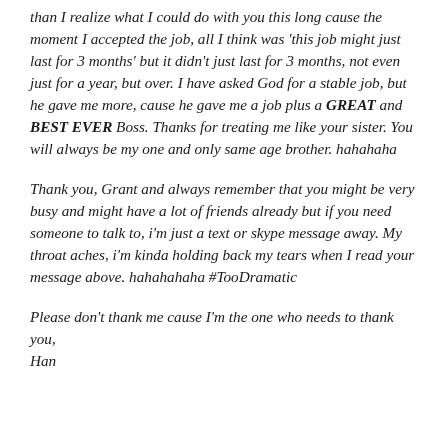than I realize what I could do with you this long cause the moment I accepted the job, all I think was 'this job might just last for 3 months' but it didn't just last for 3 months, not even just for a year, but over. I have asked God for a stable job, but he gave me more, cause he gave me a job plus a GREAT and BEST EVER Boss. Thanks for treating me like your sister. You will always be my one and only same age brother. hahahaha
Thank you, Grant and always remember that you might be very busy and might have a lot of friends already but if you need someone to talk to, i'm just a text or skype message away. My throat aches, i'm kinda holding back my tears when I read your message above. hahahahaha #TooDramatic
Please don't thank me cause I'm the one who needs to thank you,
Han